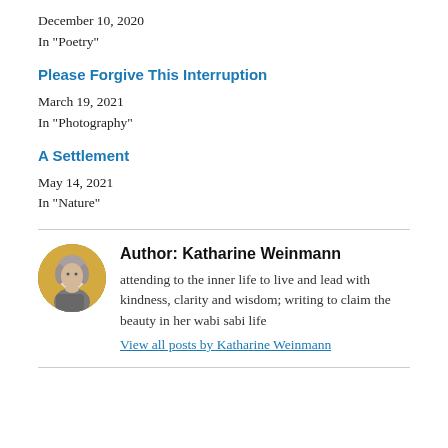December 10, 2020
In "Poetry"
Please Forgive This Interruption
March 19, 2021
In "Photography"
A Settlement
May 14, 2021
In "Nature"
[Figure (photo): Circular avatar photo of author Katharine Weinmann, showing a woman with gray hair against a warm yellow-gold background]
Author: Katharine Weinmann
attending to the inner life to live and lead with kindness, clarity and wisdom; writing to claim the beauty in her wabi sabi life
View all posts by Katharine Weinmann